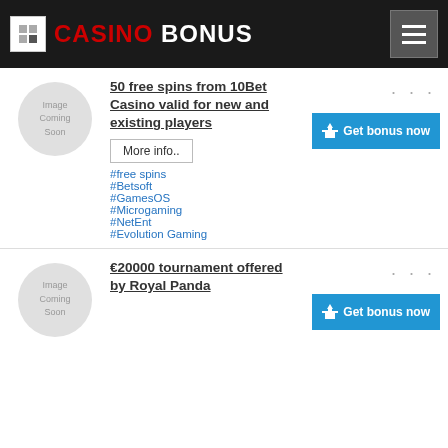CASINO BONUS
[Figure (illustration): Image Coming Soon placeholder circle for 10Bet Casino]
50 free spins from 10Bet Casino valid for new and existing players
More info..
#free spins
#Betsoft
#GamesOS
#Microgaming
#NetEnt
#Evolution Gaming
[Figure (illustration): Image Coming Soon placeholder circle for Royal Panda]
€20000 tournament offered by Royal Panda